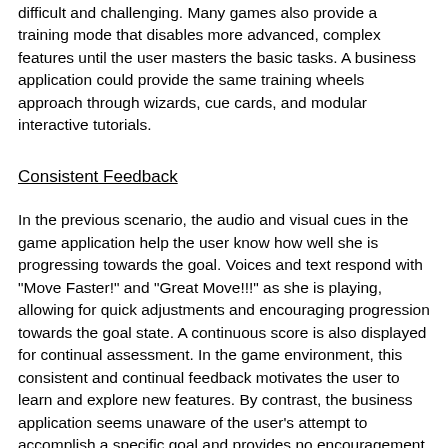difficult and challenging. Many games also provide a training mode that disables more advanced, complex features until the user masters the basic tasks. A business application could provide the same training wheels approach through wizards, cue cards, and modular interactive tutorials.
Consistent Feedback
In the previous scenario, the audio and visual cues in the game application help the user know how well she is progressing towards the goal. Voices and text respond with "Move Faster!" and "Great Move!!!" as she is playing, allowing for quick adjustments and encouraging progression towards the goal state. A continuous score is also displayed for continual assessment. In the game environment, this consistent and continual feedback motivates the user to learn and explore new features. By contrast, the business application seems unaware of the user's attempt to accomplish a specific goal and provides no encouragement or indication of success or failure. The user is left on her own to determine if her performance was optimal or even correct.
Research has shown that users are most successful with and most receptive to "advisement orientation" feedback